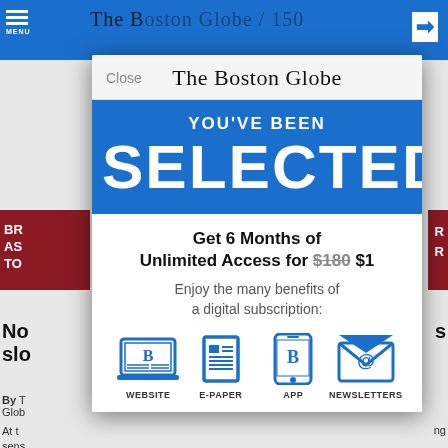[Figure (screenshot): Screenshot of a mobile browser showing The Boston Globe website with a subscription modal overlay. The background shows the Boston Globe newspaper site with blue top navigation bar and partial article text. A modal popup is overlaid showing 'YOU'VE BEEN SELECTED' on a blue background, with an offer for 6 months unlimited access for $1 (originally $180), and icons for Website, E-Paper, App, and Newsletters.]
The Boston Globe
YOU'VE BEEN
SELECTED
Get 6 Months of Unlimited Access for $180 $1
Enjoy the many benefits of a digital subscription:
WEBSITE
E-PAPER
APP
NEWSLETTERS